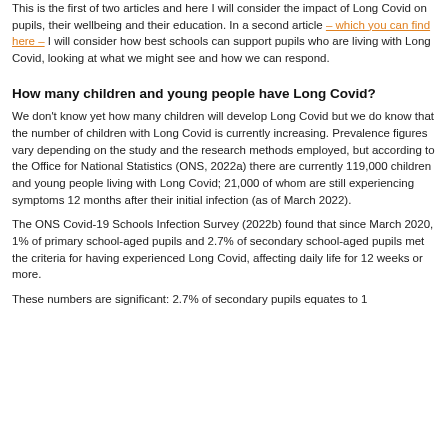This is the first of two articles and here I will consider the impact of Long Covid on pupils, their wellbeing and their education. In a second article – which you can find here – I will consider how best schools can support pupils who are living with Long Covid, looking at what we might see and how we can respond.
How many children and young people have Long Covid?
We don't know yet how many children will develop Long Covid but we do know that the number of children with Long Covid is currently increasing. Prevalence figures vary depending on the study and the research methods employed, but according to the Office for National Statistics (ONS, 2022a) there are currently 119,000 children and young people living with Long Covid; 21,000 of whom are still experiencing symptoms 12 months after their initial infection (as of March 2022).
The ONS Covid-19 Schools Infection Survey (2022b) found that since March 2020, 1% of primary school-aged pupils and 2.7% of secondary school-aged pupils met the criteria for having experienced Long Covid, affecting daily life for 12 weeks or more.
These numbers are significant: 2.7% of secondary pupils equates to 1